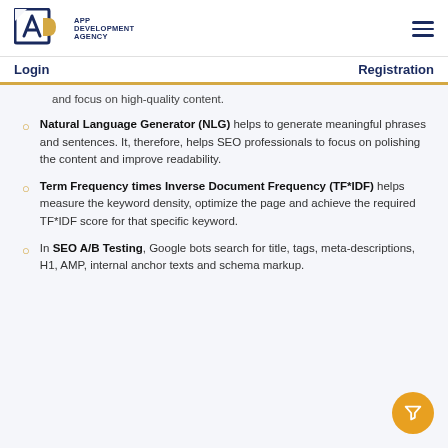APP DEVELOPMENT AGENCY
Login  Registration
and focus on high-quality content.
Natural Language Generator (NLG) helps to generate meaningful phrases and sentences. It, therefore, helps SEO professionals to focus on polishing the content and improve readability.
Term Frequency times Inverse Document Frequency (TF*IDF) helps measure the keyword density, optimize the page and achieve the required TF*IDF score for that specific keyword.
In SEO A/B Testing, Google bots search for title, tags, meta-descriptions, H1, AMP, internal anchor texts and schema markup.